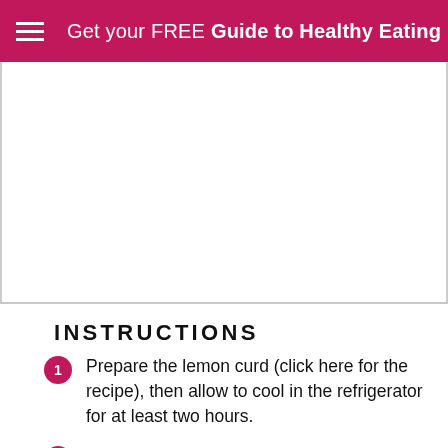Get your FREE Guide to Healthy Eating
[Figure (other): Large white image placeholder area]
INSTRUCTIONS
Prepare the lemon curd (click here for the recipe), then allow to cool in the refrigerator for at least two hours.
Preheat the oven to 350°F. In a large bow, beat the eggs and sugar until pale and fluffy. Add in the flour with the baking powder.